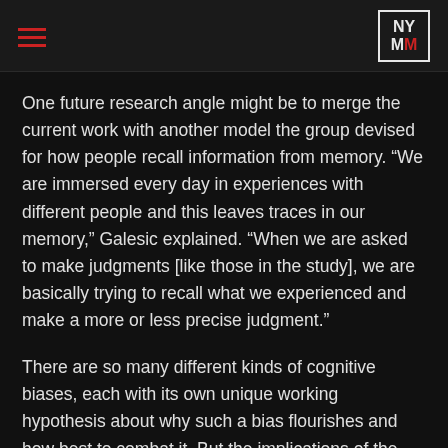NYMM
One future research angle might be to merge the current work with another model the group devised for how people recall information from memory. “We are immersed every day in experiences with different people and this leaves traces in our memory,” Galesic explained. “When we are asked to make judgments [like those in the study], we are basically trying to recall what we experienced and make a more or less precise judgment.”
There are so many different kinds of cognitive biases, each with its own unique working hypothesis about why such a bias flourishes and how best to combat it. But the implications of the SFI study is that perhaps the explanation is much simpler. “It’s basically just what our social network serves us as information, which is then reflected in our memory and is used